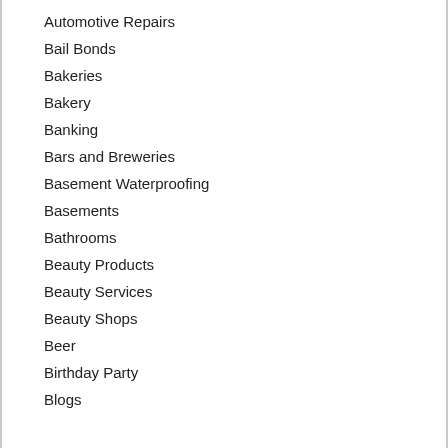Automotive Repairs
Bail Bonds
Bakeries
Bakery
Banking
Bars and Breweries
Basement Waterproofing
Basements
Bathrooms
Beauty Products
Beauty Services
Beauty Shops
Beer
Birthday Party
Blogs